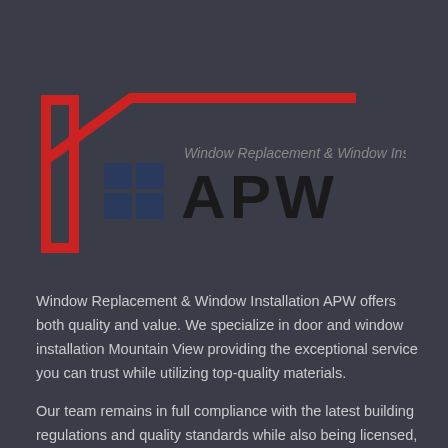[Figure (logo): APW Window Replacement & Window Installation logo: red house outline with door shape on left, dark blue grid window squares, bold black text 'APW', gray subtitle 'Window Replacement & Window Installation']
Window Replacement & Window Installation APW offers both quality and value. We specialize in door and window installation Mountain View providing the exceptional service you can trust while utilizing top-quality materials.
Our team remains in full compliance with the latest building regulations and quality standards while also being licensed, bonded, and insured. As a top priority, we ensure a safe environment for our